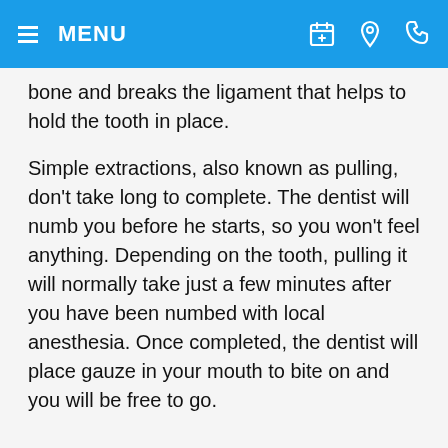MENU
bone and breaks the ligament that helps to hold the tooth in place.
Simple extractions, also known as pulling, don't take long to complete. The dentist will numb you before he starts, so you won't feel anything. Depending on the tooth, pulling it will normally take just a few minutes after you have been numbed with local anesthesia. Once completed, the dentist will place gauze in your mouth to bite on and you will be free to go.